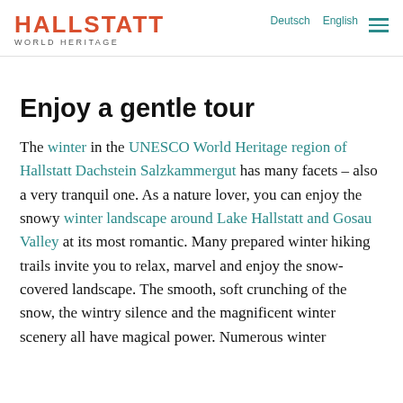HALLSTATT WORLD HERITAGE | Deutsch English
Enjoy a gentle tour
The winter in the UNESCO World Heritage region of Hallstatt Dachstein Salzkammergut has many facets – also a very tranquil one. As a nature lover, you can enjoy the snowy winter landscape around Lake Hallstatt and Gosau Valley at its most romantic. Many prepared winter hiking trails invite you to relax, marvel and enjoy the snow-covered landscape. The smooth, soft crunching of the snow, the wintry silence and the magnificent winter scenery all have magical power. Numerous winter